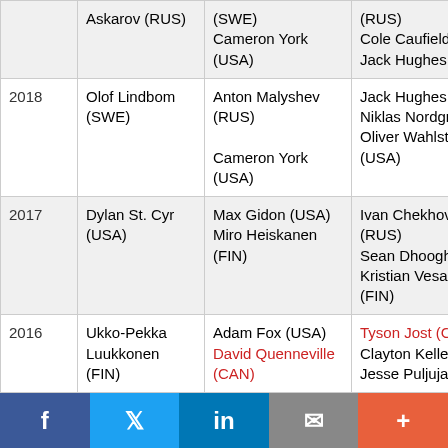| Year | Winner | Finalists | Others |
| --- | --- | --- | --- |
|  | Askarov (RUS) | (SWE)
Cameron York (USA) | (RUS)
Cole Caufield (USA)
Jack Hughes (USA) |
| 2018 | Olof Lindbom (SWE) | Anton Malyshev (RUS)
Cameron York (USA) | Jack Hughes (USA)
Niklas Nordgren (FIN)
Oliver Wahlstrom (USA) |
| 2017 | Dylan St. Cyr (USA) | Max Gidon (USA)
Miro Heiskanen (FIN) | Ivan Chekhovich (RUS)
Sean Dhooghe (USA)
Kristian Vesalainen (FIN) |
| 2016 | Ukko-Pekka Luukkonen (FIN) | Adam Fox (USA)
David Quenneville (CAN) | Tyson Jost (CAN)
Clayton Keller (USA)
Jesse Puljujarvi (FIN) |
f  Twitter  in  Email  +